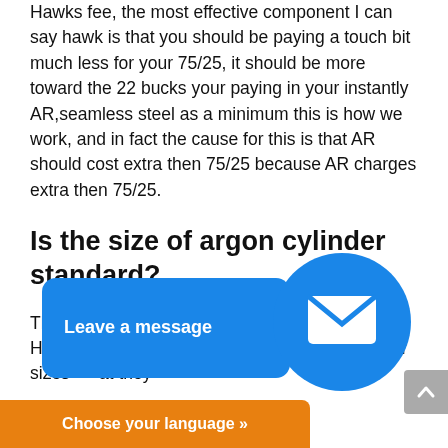Hawks fee, the most effective component I can say hawk is that you should be paying a touch bit much less for your 75/25, it should be more toward the 22 bucks your paying in your instantly AR,seamless steel as a minimum this is how we work, and in fact the cause for this is that AR should cost extra then 75/25 because AR charges extra then 75/25.
Is the size of argon cylinder standard?
Th... a... on an... p... Ho... nu... use unusual argon cylinder sizes... at they ... ental tanks and
[Figure (other): Blue rounded rectangle chat widget with text 'Leave a message' and a right-pointing arrow, overlapping the main text body]
[Figure (other): Blue circle with white mail/envelope icon, overlapping the main text body]
[Figure (other): Gray scroll-to-top button with up chevron icon on the right edge]
[Figure (other): Orange bar at bottom with text 'Choose your language »']